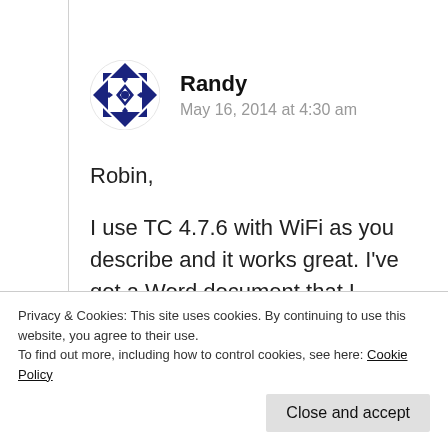[Figure (illustration): Circular avatar icon with geometric blue/navy diamond and triangle pattern on white background]
Randy
May 16, 2014 at 4:30 am
Robin,

I use TC 4.7.6 with WiFi as you describe and it works great. I've got a Word document that I created with the steps I did. Send
Privacy & Cookies: This site uses cookies. By continuing to use this website, you agree to their use.
To find out more, including how to control cookies, see here: Cookie Policy
Close and accept